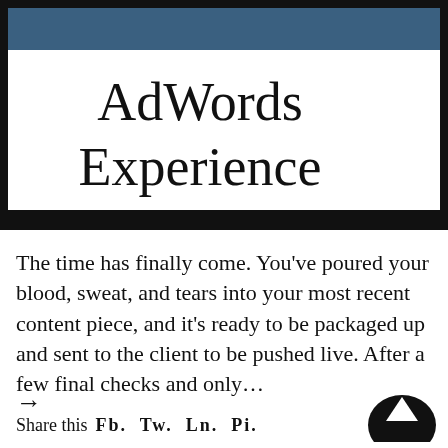[Figure (screenshot): Screenshot of a presentation or web page showing the text 'AdWords Experience' in large serif font on white background, with a dark blue/black header bar visible at the top, set inside a thick black border frame resembling a monitor or laptop screen.]
The time has finally come. You've poured your blood, sweat, and tears into your most recent content piece, and it's ready to be packaged up and sent to the client to be pushed live. After a few final checks and only…
→
Share this  Fb.  Tw.  Ln.  Pi.